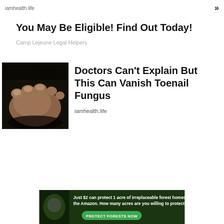iamhealth.life
You May Be Eligible! Find Out Today!
Camp Lejeune Legal Helpers
[Figure (photo): Close-up photo of a human foot/toenail with fungal infection, dark background]
Doctors Can't Explain But This Can Vanish Toenail Fungus
iamhealth.life
[Figure (infographic): Green banner ad: Just $2 can protect 1 acre of irreplaceable forest homes in the Amazon. How many acres are you willing to protect? PROTECT FORESTS NOW]